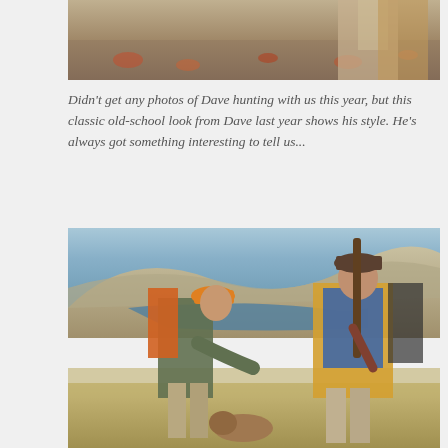[Figure (photo): Top portion of a hunting photo showing legs/lower body of a person with a backpack, standing on ground covered with fallen leaves]
Didn't get any photos of Dave hunting with us this year, but this classic old-school look from Dave last year shows his style. He's always got something interesting to tell us...
[Figure (photo): Two men talking outdoors on a hillside with a lake and mountains in the background. The man on the left wears camouflage gear and an orange hunting cap with a backpack. The man on the right wears a blue shirt and yellow hunting vest and holds a rifle. A dog is visible at the bottom of the frame.]